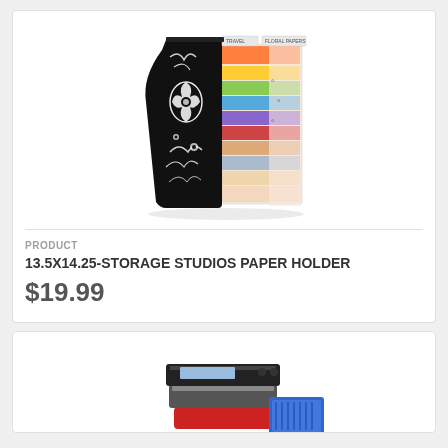[Figure (photo): A decorative paper holder/magazine file with a black and white floral scroll pattern on the front panel, filled with colorful sheets of paper in various colors including orange, yellow, green, blue, purple, and floral patterned papers. Tab dividers labeled 'TRAVEL' and 'FLORAL PAPERS' are visible at the top.]
PRODUCT
13.5X14.25-STORAGE STUDIOS PAPER HOLDER
$19.99
[Figure (photo): Partial view of a second product — appears to be some kind of electronic device or tool, partially visible at the bottom of the page, with red and blue components visible.]